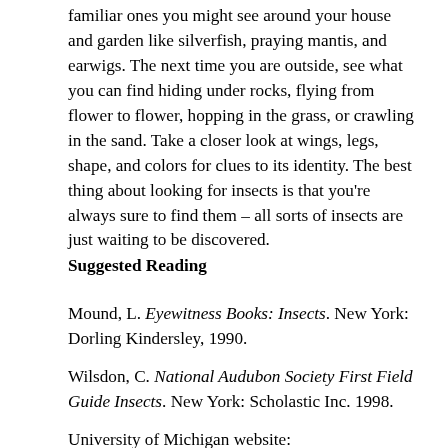familiar ones you might see around your house and garden like silverfish, praying mantis, and earwigs. The next time you are outside, see what you can find hiding under rocks, flying from flower to flower, hopping in the grass, or crawling in the sand. Take a closer look at wings, legs, shape, and colors for clues to its identity. The best thing about looking for insects is that you're always sure to find them – all sorts of insects are just waiting to be discovered.
Suggested Reading
Mound, L. Eyewitness Books: Insects. New York: Dorling Kindersley, 1990.
Wilsdon, C. National Audubon Society First Field Guide Insects. New York: Scholastic Inc. 1998.
University of Michigan website: